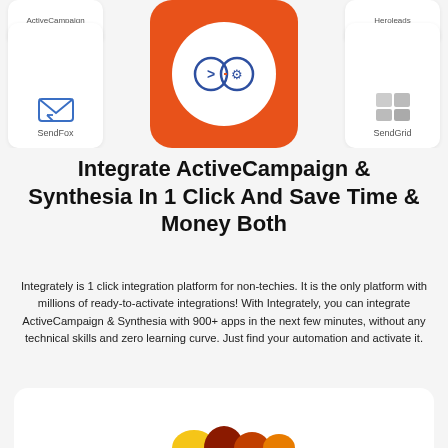[Figure (infographic): Top section showing integration cards: SendFox card on left, central orange rounded square with white circle containing arrow and gear icons (Integrately logo), SendGrid card on right. Above those partially visible: ActiveCampaign and Heroleads labels.]
Integrate ActiveCampaign & Synthesia In 1 Click And Save Time & Money Both
Integrately is 1 click integration platform for non-techies. It is the only platform with millions of ready-to-activate integrations! With Integrately, you can integrate ActiveCampaign & Synthesia with 900+ apps in the next few minutes, without any technical skills and zero learning curve. Just find your automation and activate it.
[Figure (illustration): Bottom card partially visible showing colorful emoji/illustration figures at the bottom of the page]